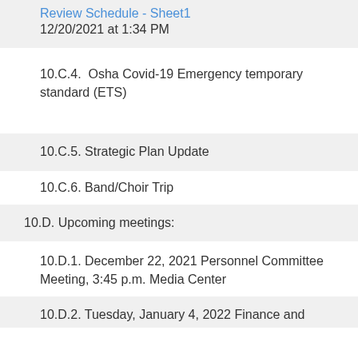Review Schedule - Sheet1
12/20/2021 at 1:34 PM
10.C.4.  Osha Covid-19 Emergency temporary standard (ETS)
10.C.5. Strategic Plan Update
10.C.6. Band/Choir Trip
10.D. Upcoming meetings:
10.D.1. December 22, 2021 Personnel Committee Meeting, 3:45 p.m. Media Center
10.D.2. Tuesday, January 4, 2022 Finance and